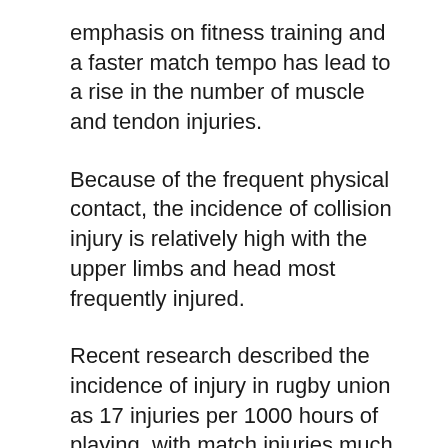emphasis on fitness training and a faster match tempo has lead to a rise in the number of muscle and tendon injuries.
Because of the frequent physical contact, the incidence of collision injury is relatively high with the upper limbs and head most frequently injured.
Recent research described the incidence of injury in rugby union as 17 injuries per 1000 hours of playing, with match injuries much more frequent than training injuries.
During matches, most injuries occurred whilst being tackled, whereas most training injuries occurred during endurance running and contact activities.